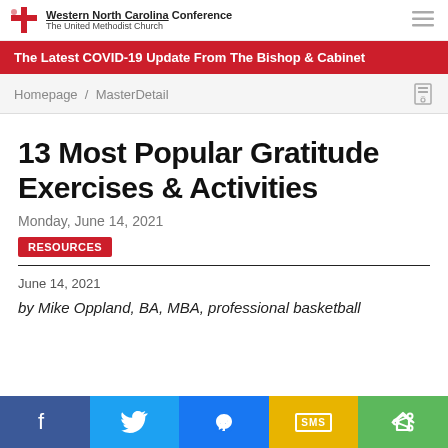Western North Carolina Conference The United Methodist Church
The Latest COVID-19 Update From The Bishop & Cabinet
Homepage / MasterDetail
13 Most Popular Gratitude Exercises & Activities
Monday, June 14, 2021
RESOURCES
June 14, 2021
by Mike Oppland, BA, MBA, professional basketball